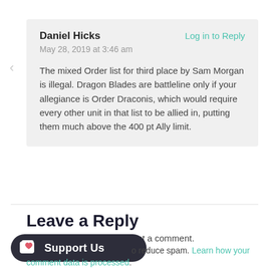Daniel Hicks
Log in to Reply
May 28, 2019 at 3:46 am
The mixed Order list for third place by Sam Morgan is illegal. Dragon Blades are battleline only if your allegiance is Order Draconis, which would require every other unit in that list to be allied in, putting them much above the 400 pt Ally limit.
Leave a Reply
You must be logged in to post a comment.
Support Us
to reduce spam. Learn how your comment data is processed.